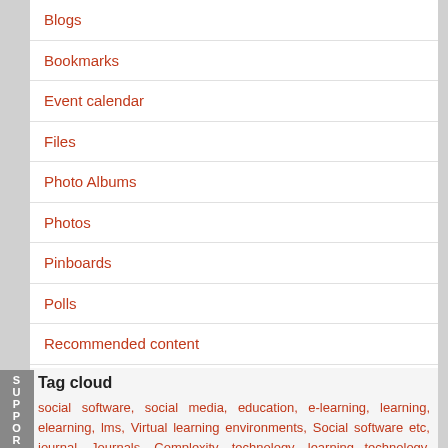Blogs
Bookmarks
Event calendar
Files
Photo Albums
Photos
Pinboards
Polls
Recommended content
Wikis
Wire posts
Tag cloud
social software, social media, education, e-learning, learning, elearning, lms, Virtual learning environments, Social software etc, journal, Journals, Complexity, technology, learning technology, teaching, learnng, Complexity and education, online learning, soft technology, higher education, hard technology, motivation,